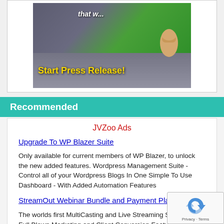[Figure (screenshot): Banner image with 'that w...' text at top, green background with thumbs up, and 'Start Press Release!' button in yellow text on gray bar]
Recommended
JVZoo Ads
Upgrade To WP Blazer Suite
Only available for current members of WP Blazer, to unlock the new added features. Wordpress Management Suite - Control all of your Wordpress Blogs In One Simple To Use Dashboard - With Added Automation Features
StreamOut Webinar Bundle and Payment Plan Option
The worlds first MultiCasting and Live Streaming Solution With Full Blown Marketing and Client Conversion Features Built In
Videoseeder Agency Elite
Videoseeder is a powerful new application that will